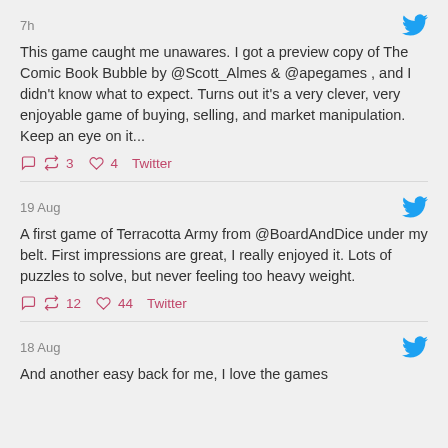7h
This game caught me unawares. I got a preview copy of The Comic Book Bubble by @Scott_Almes & @apegames , and I didn't know what to expect. Turns out it's a very clever, very enjoyable game of buying, selling, and market manipulation. Keep an eye on it...
3 4 Twitter
19 Aug
A first game of Terracotta Army from @BoardAndDice under my belt. First impressions are great, I really enjoyed it. Lots of puzzles to solve, but never feeling too heavy weight.
12 44 Twitter
18 Aug
And another easy back for me, I love the games